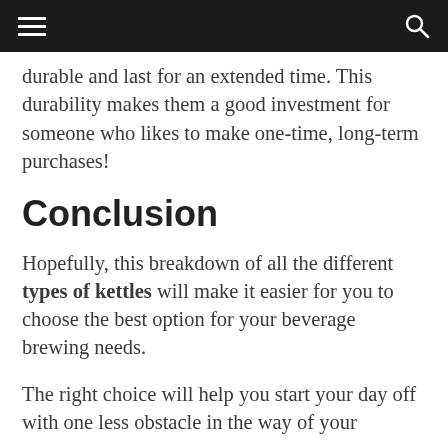[hamburger menu] [search icon]
Due to the stainless steel, these kettles are durable and last for an extended time. This durability makes them a good investment for someone who likes to make one-time, long-term purchases!
Conclusion
Hopefully, this breakdown of all the different types of kettles will make it easier for you to choose the best option for your beverage brewing needs.
The right choice will help you start your day off with one less obstacle in the way of your